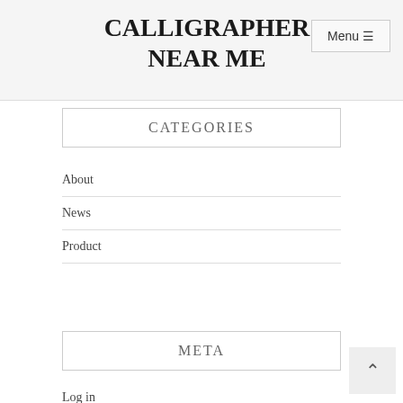CALLIGRAPHER NEAR ME
CATEGORIES
About
News
Product
META
Log in
Entries feed